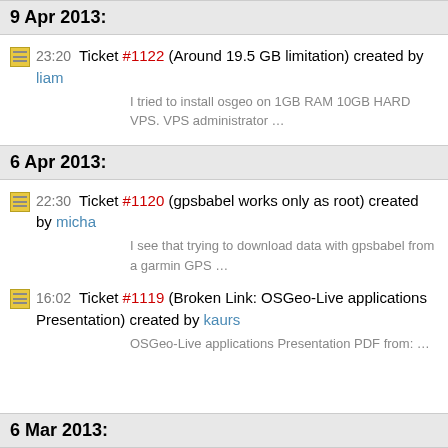9 Apr 2013:
23:20 Ticket #1122 (Around 19.5 GB limitation) created by liam
I tried to install osgeo on 1GB RAM 10GB HARD VPS. VPS administrator …
6 Apr 2013:
22:30 Ticket #1120 (gpsbabel works only as root) created by micha
I see that trying to download data with gpsbabel from a garmin GPS …
16:02 Ticket #1119 (Broken Link: OSGeo-Live applications Presentation) created by kaurs
OSGeo-Live applications Presentation PDF from: …
6 Mar 2013: